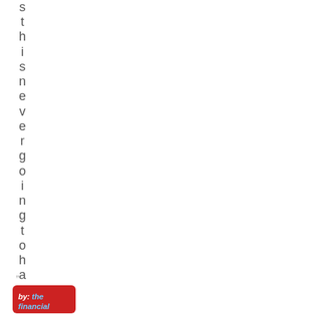s t h i s n e v e r g o i n g t o h a p p e n ?
”
by: the financial [obscured]